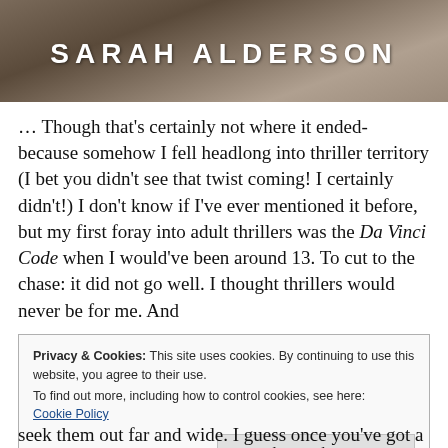[Figure (photo): Book cover image showing 'SARAH ALDERSON' text in large white bold letters on a textured dark brown/earth-toned background]
… Though that's certainly not where it ended- because somehow I fell headlong into thriller territory (I bet you didn't see that twist coming! I certainly didn't!) I don't know if I've ever mentioned it before, but my first foray into adult thrillers was the Da Vinci Code when I would've been around 13. To cut to the chase: it did not go well. I thought thrillers would never be for me. And
Privacy & Cookies: This site uses cookies. By continuing to use this website, you agree to their use.
To find out more, including how to control cookies, see here:
Cookie Policy
Close and accept
seek them out far and wide. I guess once you've got a